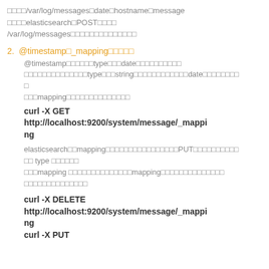□□□□/var/log/messages□date□hostname□message □□□□elasticsearch□POST□□□□ /var/log/messages□□□□□□□□□□□□□□
2. @timestamp□_mapping□□□□□
@timestamp□□□□□□type□□□date□□□□□□□□□□ □□□□□□□□□□□□□□type□□□string□□□□□□□□□□□□date□□□□□□□□ □ □□□mapping□□□□□□□□□□□□□□
curl -X GET http://localhost:9200/system/message/_mapping
elasticsearch□□mapping□□□□□□□□□□□□□□□□PUT□□□□□□□□□□ □□ type □□□□□□ □□□mapping □□□□□□□□□□□□□□mapping□□□□□□□□□□□□□□ □□□□□□□□□□□□□□
curl -X DELETE http://localhost:9200/system/message/_mapping curl -X PUT